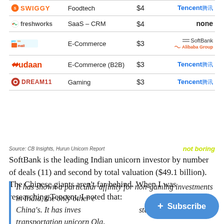| Company | Sector | Valuation ($B) | Investor |
| --- | --- | --- | --- |
| Swiggy | Foodtech | $4 | Tencent 腾讯 |
| freshworks | SaaS – CRM | $4 | none |
| Paytm Mall | E-Commerce | $3 | SoftBank / Alibaba Group |
| Udaan | E-Commerce (B2B) | $3 | Tencent 腾讯 |
| Dream11 | Gaming | $3 | Tencent 腾讯 |
Source: CB Insights, Hurun Unicorn Report
SoftBank is the leading Indian unicorn investor by number of deals (11) and second by total valuation ($49.1 billion). The Chinese giants aren't far behind. When I was researching Tencent, I noted that:
It has shown a particular affinity for non-gaming investments in India, the only other country with a population as China's. It has invested in ecommerce standout Flipkart, transportation unicorn Ola,